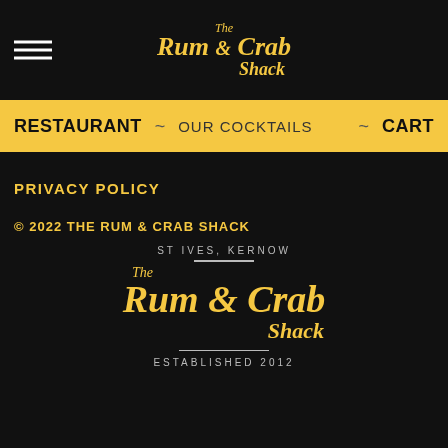[Figure (logo): The Rum & Crab Shack logo in gold italic script on black header bar with hamburger menu icon]
RESTAURANT ~ OUR COCKTAILS ~ CART
PRIVACY POLICY
© 2022 THE RUM & CRAB SHACK
[Figure (logo): The Rum & Crab Shack circular badge logo with ST IVES, KERNOW text above and ESTABLISHED 2012 below, gold script on black background]